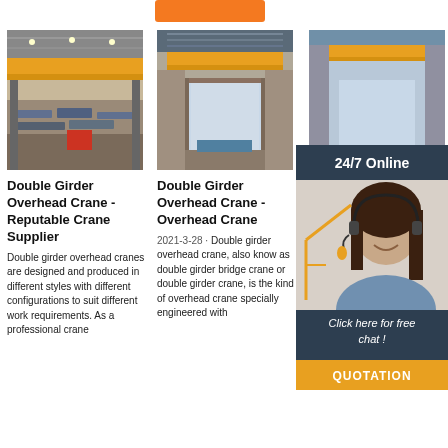[Figure (other): Orange button/banner at top center]
[Figure (photo): Industrial overhead crane in large warehouse with yellow girders]
Double Girder Overhead Crane - Reputable Crane Supplier
Double girder overhead cranes are designed and produced in different styles with different configurations to suit different work requirements. As a professional crane
[Figure (photo): Double girder overhead crane inside industrial building with large door opening]
Double Girder Overhead Crane - Overhead Crane
2021-3-28 · Double girder overhead crane, also know as double girder bridge crane or double girder crane, is the kind of overhead crane specially engineered with
QD Series Double Girder Overhead Crane With Winch Trolley
2021-8-24 · Double Girder Overhead Crane with Winch Trolley introduction. QD series double girder overhead crane with winch trolley is composed
[Figure (infographic): 24/7 Online customer service widget with agent photo, Click here for free chat button, and QUOTATION button]